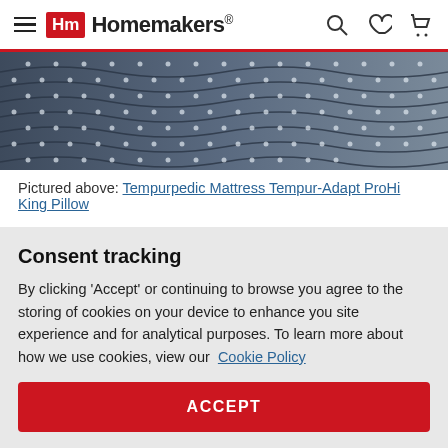Homemakers
[Figure (photo): Close-up photo of a Tempurpedic mattress fabric showing textured pattern with dots and wavy lines in dark grey/blue]
Pictured above: Tempurpedic Mattress Tempur-Adapt ProHi King Pillow
Are you the kind of person who has trouble falling or staying asleep? The pillow you use could be hindering you from getting the
Consent tracking
By clicking 'Accept' or continuing to browse you agree to the storing of cookies on your device to enhance you site experience and for analytical purposes. To learn more about how we use cookies, view our Cookie Policy
ACCEPT